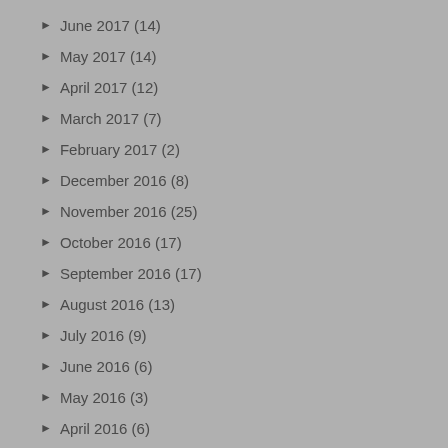June 2017 (14)
May 2017 (14)
April 2017 (12)
March 2017 (7)
February 2017 (2)
December 2016 (8)
November 2016 (25)
October 2016 (17)
September 2016 (17)
August 2016 (13)
July 2016 (9)
June 2016 (6)
May 2016 (3)
April 2016 (6)
March 2016 (5)
February 2016 (4)